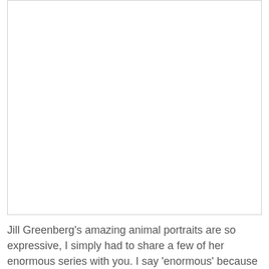[Figure (photo): A large white/blank image placeholder area with a light gray border]
Jill Greenberg's amazing animal portraits are so expressive, I simply had to share a few of her enormous series with you. I say 'enormous' because she literally has over 80 portraits of